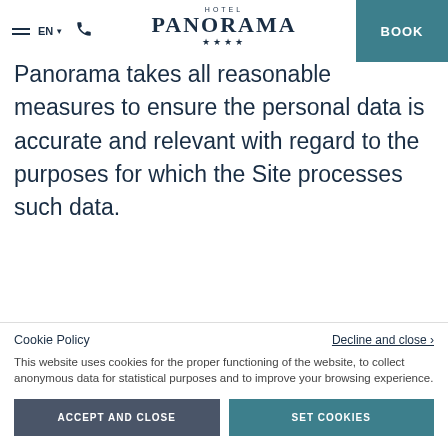HOTEL PANORAMA ★★★★ | EN | BOOK
Panorama takes all reasonable measures to ensure the personal data is accurate and relevant with regard to the purposes for which the Site processes such data.
Cookie Policy
Decline and close ›
This website uses cookies for the proper functioning of the website, to collect anonymous data for statistical purposes and to improve your browsing experience.
ACCEPT AND CLOSE
SET COOKIES